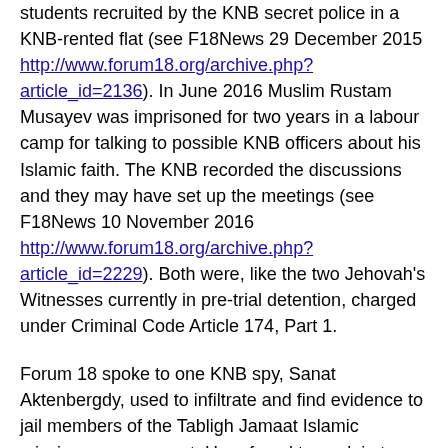students recruited by the KNB secret police in a KNB-rented flat (see F18News 29 December 2015 http://www.forum18.org/archive.php?article_id=2136). In June 2016 Muslim Rustam Musayev was imprisoned for two years in a labour camp for talking to possible KNB officers about his Islamic faith. The KNB recorded the discussions and they may have set up the meetings (see F18News 10 November 2016 http://www.forum18.org/archive.php?article_id=2229). Both were, like the two Jehovah's Witnesses currently in pre-trial detention, charged under Criminal Code Article 174, Part 1.
Forum 18 spoke to one KNB spy, Sanat Aktenbergdy, used to infiltrate and find evidence to jail members of the Tabligh Jamaat Islamic missionary movement. He refused to explain to Forum 18 what if any wrongdoing he might have found, or what exactly the alleged "extremist activity" of the movement is (see F18News 22 April 2016 http://www.forum18.org/archive.php?article_id=2170).
Alleged members of Tabligh Jamaat continue to be